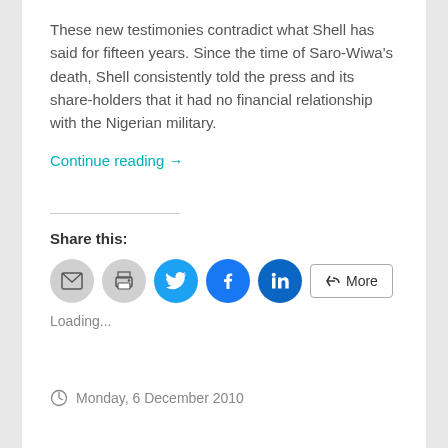These new testimonies contradict what Shell has said for fifteen years. Since the time of Saro-Wiwa’s death, Shell consistently told the press and its share-holders that it had no financial relationship with the Nigerian military.
Continue reading →
Share this:
[Figure (infographic): Social sharing buttons: email (grey circle), print (grey circle), Twitter (blue circle with bird icon), Facebook (blue circle with f icon), LinkedIn (dark blue circle with in icon), and a More button with share icon]
Loading...
Monday, 6 December 2010